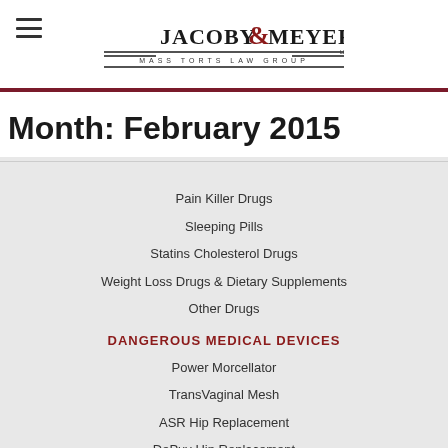[Figure (logo): Jacoby & Meyers Mass Torts Law Group logo with hamburger menu icon]
Month: February 2015
Pain Killer Drugs
Sleeping Pills
Statins Cholesterol Drugs
Weight Loss Drugs & Dietary Supplements
Other Drugs
DANGEROUS MEDICAL DEVICES
Power Morcellator
TransVaginal Mesh
ASR Hip Replacement
DePuy Hip Replacement
Inferior Vena Cava Filters